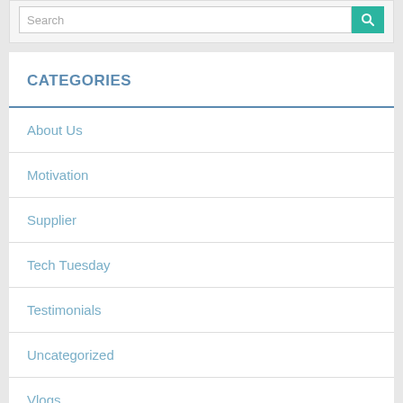Search
CATEGORIES
About Us
Motivation
Supplier
Tech Tuesday
Testimonials
Uncategorized
Vlogs